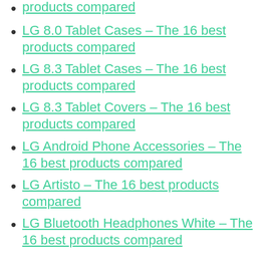products compared
LG 8.0 Tablet Cases – The 16 best products compared
LG 8.3 Tablet Cases – The 16 best products compared
LG 8.3 Tablet Covers – The 16 best products compared
LG Android Phone Accessories – The 16 best products compared
LG Artisto – The 16 best products compared
LG Bluetooth Headphones White – The 16 best products compared